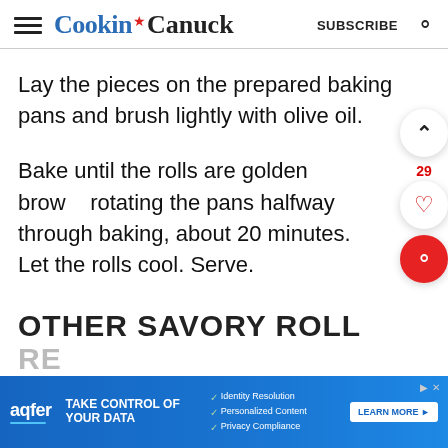Cookin★Canuck | SUBSCRIBE
Lay the pieces on the prepared baking pans and brush lightly with olive oil.
Bake until the rolls are golden brown, rotating the pans halfway through baking, about 20 minutes. Let the rolls cool. Serve.
OTHER SAVORY ROLL
[Figure (other): Advertisement banner for aqfer: TAKE CONTROL OF YOUR DATA. Identity Resolution, Personalized Content, Privacy Compliance. LEARN MORE button.]